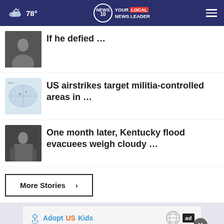78° NEWS 10 YOUR LOCAL NEWS LEADER
If he defied …
US airstrikes target militia-controlled areas in …
One month later, Kentucky flood evacuees weigh cloudy …
More Stories ›
[Figure (advertisement): Adopt US Kids advertisement with HHS and AdCouncil logos]
Research a Vehicle BY VIN Number  Bump
Enter a VIN  Search